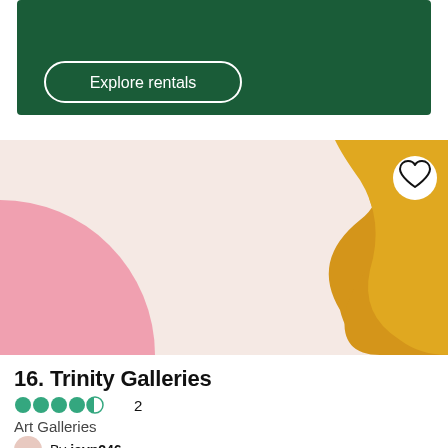[Figure (screenshot): Green rental banner with Explore rentals button]
[Figure (illustration): Decorative card image with pink semicircle on left and yellow/amber organic blob shape on right over cream/blush background, with heart/save button in top right]
16. Trinity Galleries
●●●●◐ 2
Art Galleries
By jcvp246